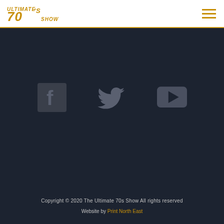ULTIMATE 70s SHOW
[Figure (logo): Ultimate 70s Show logo in gold/yellow stylized text on white header bar, with hamburger menu icon on right]
[Figure (infographic): Three social media icons on dark background: Facebook (square with f), Twitter (bird), YouTube (rectangle with play triangle), all in muted gray color]
Copyright © 2020 The Ultimate 70s Show All rights reserved
Website by Print North East